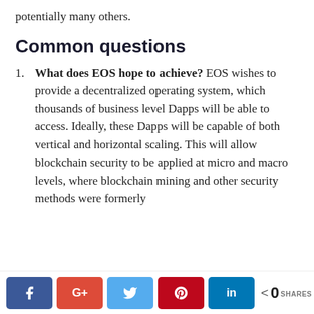potentially many others.
Common questions
What does EOS hope to achieve? EOS wishes to provide a decentralized operating system, which thousands of business level Dapps will be able to access. Ideally, these Dapps will be capable of both vertical and horizontal scaling. This will allow blockchain security to be applied at micro and macro levels, where blockchain mining and other security methods were formerly
f G+ t p in < 0 SHARES